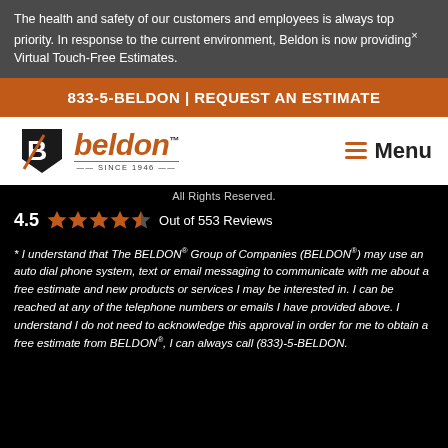The health and safety of our customers and employees is always top priority. In response to the current environment, Beldon is now providing× Virtual Touch-Free Estimates.
833-5-BELDON | REQUEST AN ESTIMATE
[Figure (logo): Beldon logo with stylized B icon and orange 'beldon' wordmark, 'SINCE 1946' tagline]
Menu
All Rights Reserved.
4.5  Out of 553 Reviews
* I understand that The BELDON® Group of Companies (BELDON®) may use an auto dial phone system, text or email messaging to communicate with me about a free estimate and new products or services I may be interested in. I can be reached at any of the telephone numbers or emails I have provided above. I understand I do not need to acknowledge this approval in order for me to obtain a free estimate from BELDON®, I can always call (833)-5-BELDON.